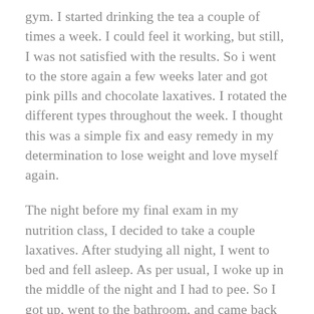gym. I started drinking the tea a couple of times a week. I could feel it working, but still, I was not satisfied with the results. So i went to the store again a few weeks later and got pink pills and chocolate laxatives. I rotated the different types throughout the week. I thought this was a simple fix and easy remedy in my determination to lose weight and love myself again.
The night before my final exam in my nutrition class, I decided to take a couple laxatives. After studying all night, I went to bed and fell asleep. As per usual, I woke up in the middle of the night and I had to pee. So I got up, went to the bathroom, and came back to my dorm room and laid back down. A few seconds later, I felt like something was immediately wrong. I sprinted to the bathroom and